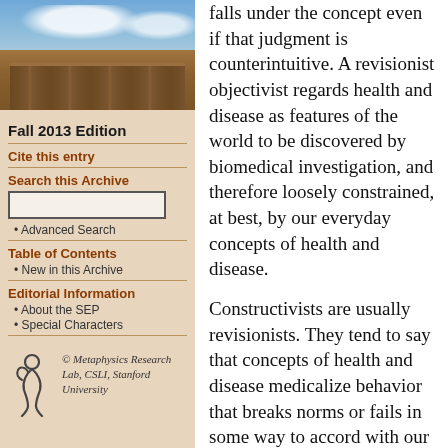[Figure (photo): Photograph of a historic university building (stone architecture with arches) against a partly cloudy sky.]
Fall 2013 Edition
Cite this entry
Search this Archive
• Advanced Search
Table of Contents
New in this Archive
Editorial Information
About the SEP
Special Characters
[Figure (logo): Metaphysics Research Lab, CSLI, Stanford University logo with stylized figure.]
© Metaphysics Research Lab, CSLI, Stanford University
falls under the concept even if that judgment is counterintuitive. A revisionist objectivist regards health and disease as features of the world to be discovered by biomedical investigation, and therefore loosely constrained, at best, by our everyday concepts of health and disease.
Constructivists are usually revisionists. They tend to say that concepts of health and disease medicalize behavior that breaks norms or fails in some way to accord with our values; we don't like pain, so painful states count as diseases: we don't like fat people or drunks, so obesity and alcoholism count